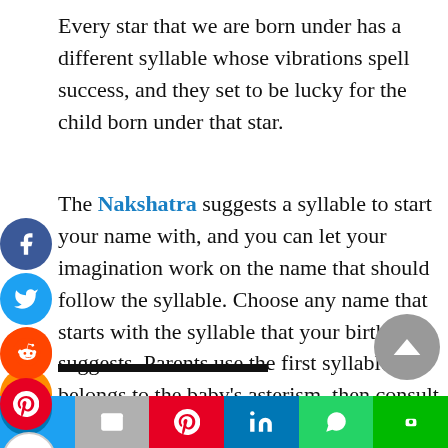Every star that we are born under has a different syllable whose vibrations spell success, and they set to be lucky for the child born under that star.
The Nakshatra suggests a syllable to start your name with, and you can let your imagination work on the name that should follow the syllable. Choose any name that starts with the syllable that your birth star suggests. Parents use the first syllable that belongs to the baby's asterism, then consult a numerologist to find a lucky name that perfectly aligns with the family name in every way.